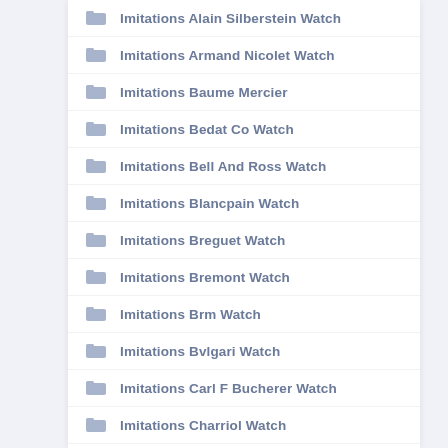Imitations Alain Silberstein Watch
Imitations Armand Nicolet Watch
Imitations Baume Mercier
Imitations Bedat Co Watch
Imitations Bell And Ross Watch
Imitations Blancpain Watch
Imitations Breguet Watch
Imitations Bremont Watch
Imitations Brm Watch
Imitations Bvlgari Watch
Imitations Carl F Bucherer Watch
Imitations Charriol Watch